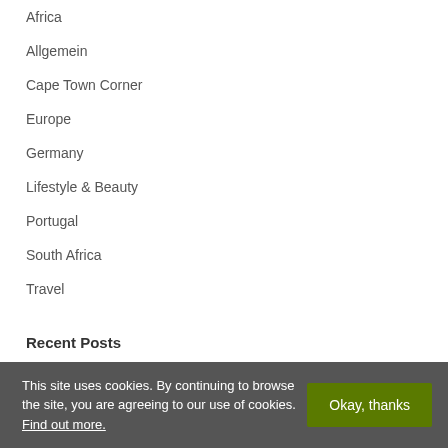Africa
Allgemein
Cape Town Corner
Europe
Germany
Lifestyle & Beauty
Portugal
South Africa
Travel
Recent Posts
Reviewing the Vegan Menu at Active Sushi on Bree...
This site uses cookies. By continuing to browse the site, you are agreeing to our use of cookies. Find out more.